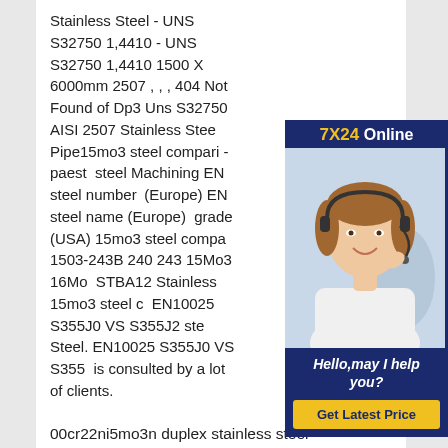Stainless Steel - UNS S32750 1,4410 - UNS S32750 1,4410 1500 X 6000mm 2507 , , , 404 Not Found of Dp3 Uns S32750 AISI 2507 Stainless Steel Pipe15mo3 steel compari - paest steel Machining EN steel number (Europe) EN steel name (Europe) grade (USA) 15mo3 steel compa 1503-243B 240 243 15Mo3 16Mo STBA12 Stainless 15mo3 steel c EN10025 S355J0 VS S355J2 ste Steel. EN10025 S355J0 VS S355 is consulted by a lot of clients.
[Figure (other): Customer service advertisement widget with '7X24 Online' header in navy blue, photo of a smiling woman wearing a headset, 'Hello, may I help you?' text, and a 'Get Latest Price' yellow button.]
00cr22ni5mo3n duplex stainless steel
seamless steel pipe of Dp3 Uns S32750
AISI 2507 Stainless Steel Pipe